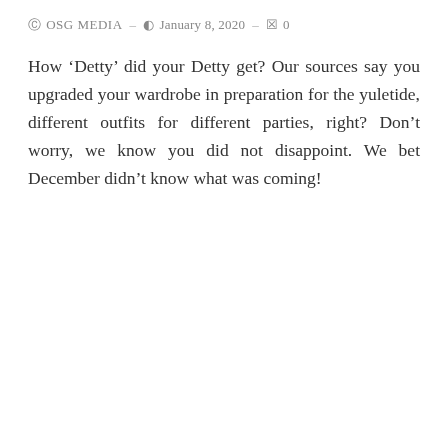OSG MEDIA — January 8, 2020 — 0
How ‘Detty’ did your Detty get? Our sources say you upgraded your wardrobe in preparation for the yuletide, different outfits for different parties, right? Don’t worry, we know you did not disappoint. We bet December didn’t know what was coming!